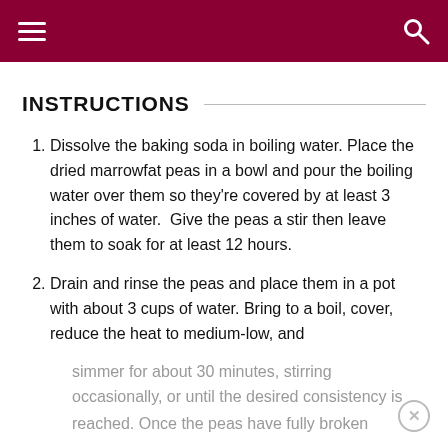≡  [search icon]
INSTRUCTIONS
Dissolve the baking soda in boiling water. Place the dried marrowfat peas in a bowl and pour the boiling water over them so they're covered by at least 3 inches of water.  Give the peas a stir then leave them to soak for at least 12 hours.
Drain and rinse the peas and place them in a pot with about 3 cups of water. Bring to a boil, cover, reduce the heat to medium-low, and simmer for about 30 minutes, stirring occasionally, or until the desired consistency is reached. Once the peas have fully broken...